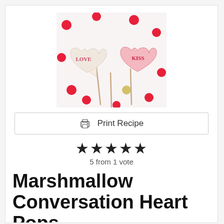[Figure (photo): Two heart-shaped chocolate-dipped marshmallow pops on sticks. One white heart says LOVE, one pink heart says KISS, on a white background with red polka dots.]
Print Recipe
★★★★★ 5 from 1 vote
Marshmallow Conversation Heart Pops
Chocolate-dipped Conversation Heart Marshmallow Pops are easy enough for kids.